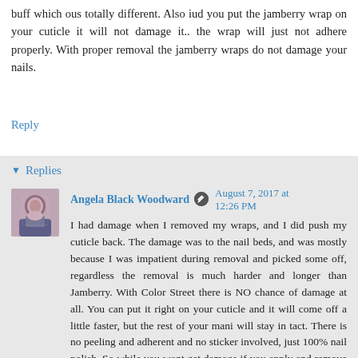buff which ous totally different. Also iud you put the jamberry wrap on your cuticle it will not damage it.. the wrap will just not adhere properly. With proper removal the jamberry wraps do not damage your nails.
Reply
Replies
Angela Black Woodward  August 7, 2017 at 12:26 PM
I had damage when I removed my wraps, and I did push my cuticle back. The damage was to the nail beds, and was mostly because I was impatient during removal and picked some off, regardless the removal is much harder and longer than Jamberry. With Color Street there is NO chance of damage at all. You can put it right on your cuticle and it will come off a little faster, but the rest of your mani will stay in tact. There is no peeling and adherent and no sticker involved, just 100% nail polish. So while you wont get damage if you apply and remove Jamberry just